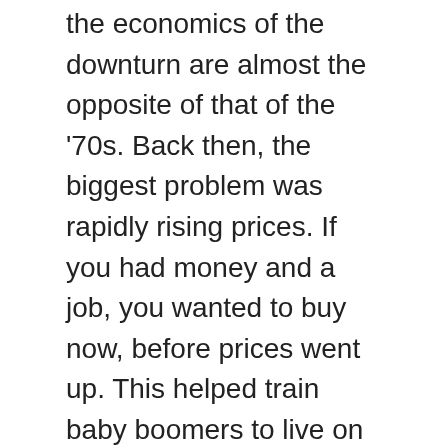the economics of the downturn are almost the opposite of that of the '70s. Back then, the biggest problem was rapidly rising prices. If you had money and a job, you wanted to buy now, before prices went up. This helped train baby boomers to live on credit, and drove a new kind of consumer culture that embraced Japanese cars and microwave ovens - both of which caught on during that decade - as well as such short-lived frivolities as hot pants and Pet Rocks. Fashion went to extremes: men wore densely striped suits with flapping lapels, patterned shirts, and bib-like ties, while